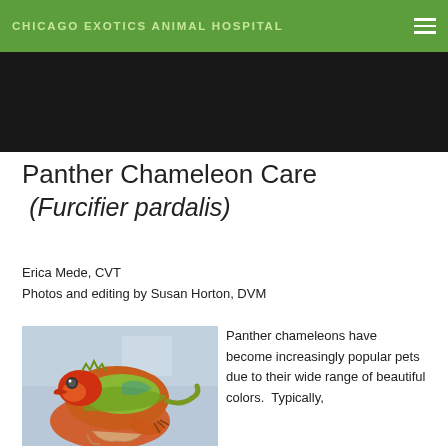CHICAGO EXOTICS ANIMAL HOSPITAL
Panther Chameleon Care (Furcifier pardalis)
Erica Mede, CVT
Photos and editing by Susan Horton, DVM
[Figure (photo): Close-up photo of a colorful panther chameleon with red, orange, and green scales being held by a person]
Panther chameleons have become increasingly popular pets due to their wide range of beautiful colors.  Typically,